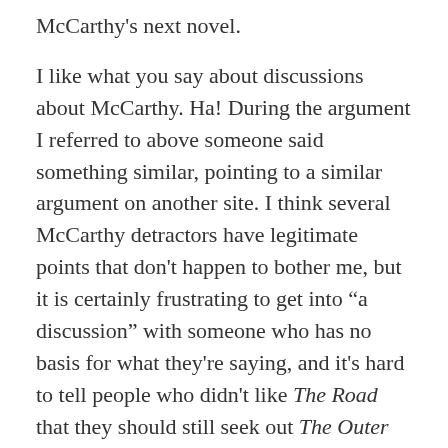McCarthy's next novel.
I like what you say about discussions about McCarthy. Ha! During the argument I referred to above someone said something similar, pointing to a similar argument on another site. I think several McCarthy detractors have legitimate points that don't happen to bother me, but it is certainly frustrating to get into “a discussion” with someone who has no basis for what they're saying, and it's hard to tell people who didn't like The Road that they should still seek out The Outer Dark or Child of God.
As far as No Country for Old Men goes, I thought it was a great novel and a brilliant film. This excerpt above reminded me of it